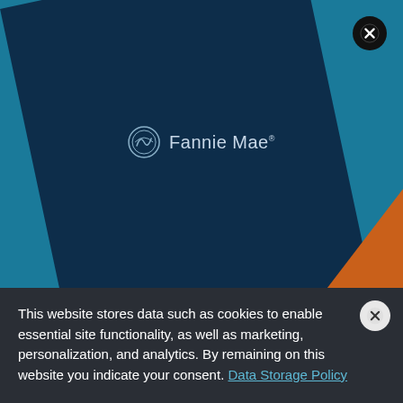[Figure (logo): Fannie Mae website screenshot with dark navy diamond shape on teal background, orange triangle accent, Fannie Mae logo centered, close button top right, cookie consent banner at bottom]
This website stores data such as cookies to enable essential site functionality, as well as marketing, personalization, and analytics. By remaining on this website you indicate your consent. Data Storage Policy